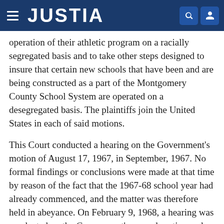JUSTIA
operation of their athletic program on a racially segregated basis and to take other steps designed to insure that certain new schools that have been and are being constructed as a part of the Montgomery County School System are operated on a desegregated basis. The plaintiffs join the United States in each of said motions.
This Court conducted a hearing on the Government's motion of August 17, 1967, in September, 1967. No formal findings or conclusions were made at that time by reason of the fact that the 1967-68 school year had already commenced, and the matter was therefore held in abeyance. On February 9, 1968, a hearing was conducted on the Government's second motion and the motion of the plaintiffs filed the same date wherein the plaintiffs seek more specific relief concerning transportation to the new schools.